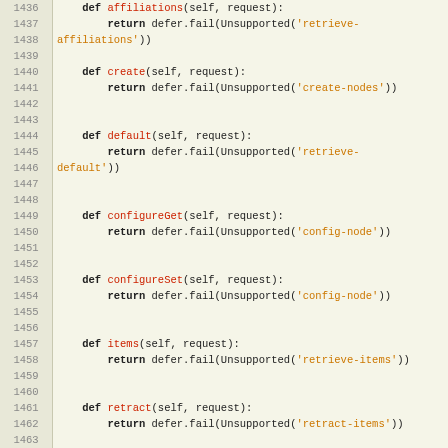Source code listing lines 1436-1467, Python code with function definitions using defer.fail(Unsupported(...)) pattern